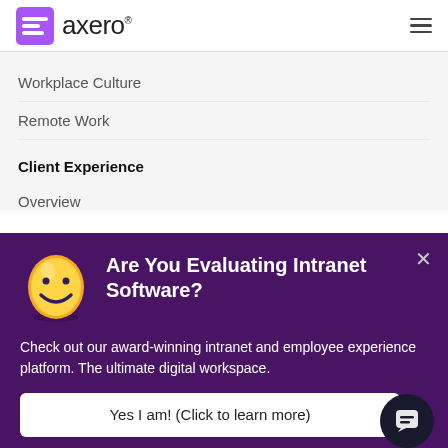[Figure (logo): Axero logo with purple square icon and 'axero' wordmark]
Workplace Culture
Remote Work
Client Experience
Overview
[Figure (infographic): Purple popup modal with smiley face emoji, heading 'Are You Evaluating Intranet Software?', body text about award-winning intranet, and a CTA button 'Yes I am! (Click to learn more)']